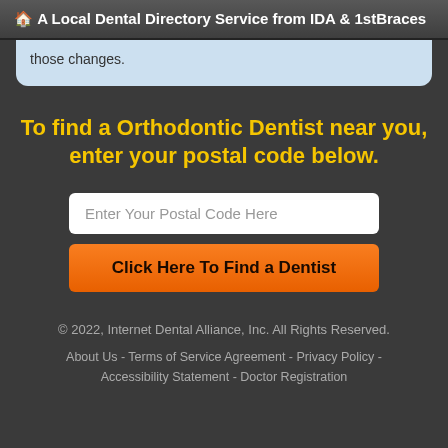🏠 A Local Dental Directory Service from IDA & 1stBraces
those changes.
To find a Orthodontic Dentist near you, enter your postal code below.
Enter Your Postal Code Here
Click Here To Find a Dentist
© 2022, Internet Dental Alliance, Inc. All Rights Reserved.
About Us - Terms of Service Agreement - Privacy Policy - Accessibility Statement - Doctor Registration